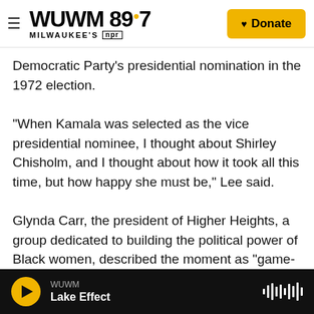WUWM 89.7 Milwaukee's NPR — Donate
Democratic Party's presidential nomination in the 1972 election.
"When Kamala was selected as the vice presidential nominee, I thought about Shirley Chisholm, and I thought about how it took all this time, but how happy she must be," Lee said.
Glynda Carr, the president of Higher Heights, a group dedicated to building the political power of Black women, described the moment as "game-changing."
"Kamala Harris' win is going to change the way we
WUWM — Lake Effect